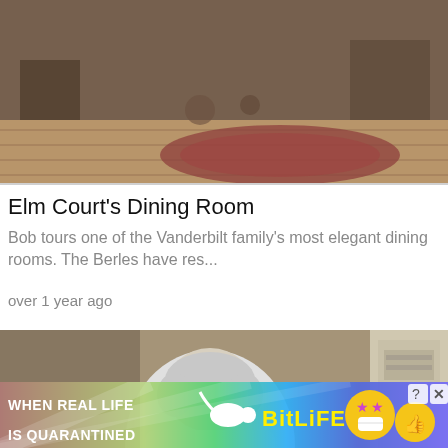[Figure (screenshot): Top portion of a video thumbnail showing a room with wooden floor and decorative rug, partially visible furniture and objects]
Elm Court's Dining Room
Bob tours one of the Vanderbilt family's most elegant dining rooms. The Berles have res...
over 1 year ago
[Figure (screenshot): Video thumbnail of a man with gray hair seen from behind, standing in an ornate room. A black banner overlay reads 'HISTORIC HOMES & MORE' in green text.]
[Figure (screenshot): Advertisement banner for BitLife game: rainbow gradient background with text 'WHEN REAL LIFE IS QUARANTINED', BitLife logo, emoji characters with mask and thumbs up, and close/help buttons]